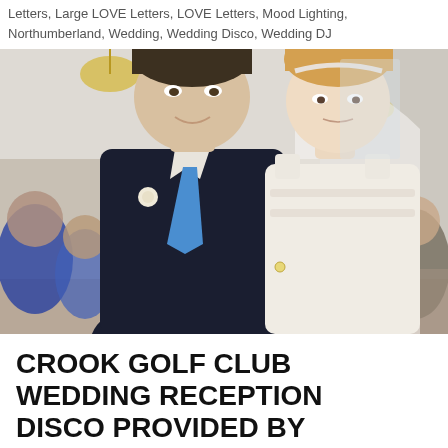Letters, Large LOVE Letters, LOVE Letters, Mood Lighting, Northumberland, Wedding, Wedding Disco, Wedding DJ
[Figure (photo): Wedding photo of a couple: groom in dark suit with blue tie and boutonnière, bride in white lace dress with veil and headband, standing together in a reception hall with guests seated in background and chandelier visible.]
CROOK GOLF CLUB WEDDING RECEPTION DISCO PROVIDED BY